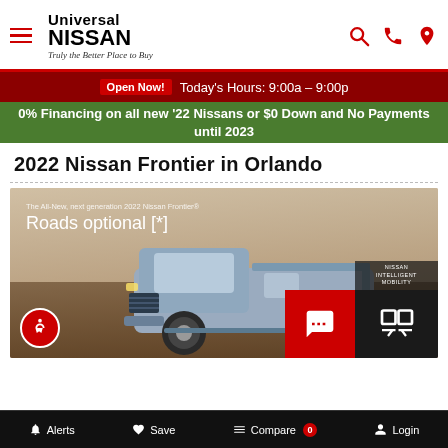[Figure (logo): Universal Nissan logo with tagline 'Truly the Better Place to Buy', hamburger menu icon, search/phone/location icons]
Open Now! Today's Hours: 9:00a – 9:00p
0% Financing on all new '22 Nissans or $0 Down and No Payments until 2023
2022 Nissan Frontier in Orlando
[Figure (photo): 2022 Nissan Frontier truck in desert landscape with text 'The All-New, next generation 2022 Nissan Frontier®' and 'Roads optional [*]'. Accessibility icon, chat button, and review button overlaid.]
Alerts  Save  Compare 0  Login